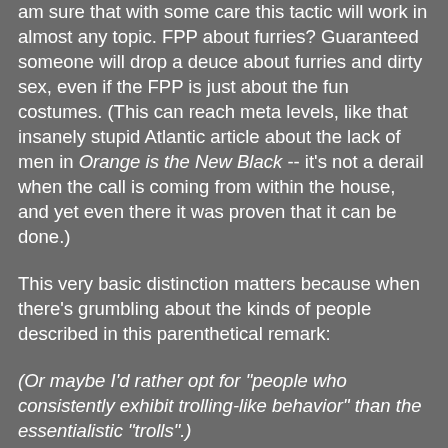am sure that with some care this tactic will work in almost any topic. FPP about furries? Guaranteed someone will drop a deuce about furries and dirty sex, even if the FPP is just about the fun costumes. (This can reach meta levels, like that insanely stupid Atlantic article about the lack of men in Orange is the New Black -- it's not a derail when the call is coming from within the house, and yet even there it was proven that it can be done.)
This very basic distinction matters because when there's grumbling about the kinds of people described in this parenthetical remark:
(Or maybe I'd rather opt for "people who consistently exhibit trolling-like behavior" than the essentialistic "trolls".)
It's very much about people with a repeated history of the second kind of derailment. People who make the first kind (including myself!) can get tiresome and irritating, but it